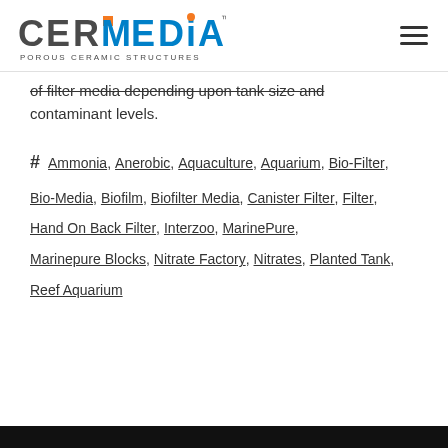CERMedia Porous Ceramic Structures [logo] [hamburger menu]
of filter media depending upon tank size and contaminant levels.
# Ammonia, Anerobic, Aquaculture, Aquarium, Bio-Filter, Bio-Media, Biofilm, Biofilter Media, Canister Filter, Filter, Hand On Back Filter, Interzoo, MarinePure, Marinepure Blocks, Nitrate Factory, Nitrates, Planted Tank, Reef Aquarium